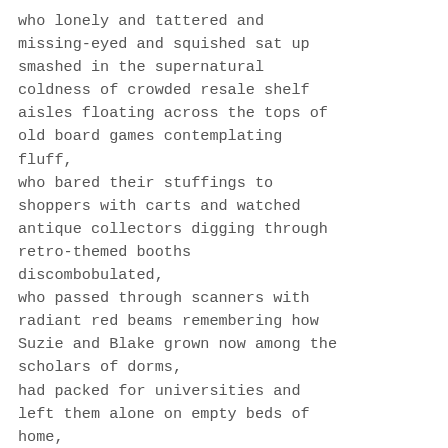who lonely and tattered and missing-eyed and squished sat up smashed in the supernatural coldness of crowded resale shelf aisles floating across the tops of old board games contemplating fluff,
who bared their stuffings to shoppers with carts and watched antique collectors digging through retro-themed booths discombobulated,
who passed through scanners with radiant red beams remembering how Suzie and Blake grown now among the scholars of dorms,
had packed for universities and left them alone on empty beds of home,
or now studied in shared rooms in evenings, turning their snuggles to